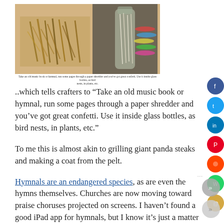[Figure (photo): Composite image showing shredded paper/wood strips on the left and a glass bottle filled with shredded material on the right, on a tan/beige background.]
Take an old music book or hymnal, run some pages through a paper shredder and you've got great confetti. Use it inside glass bottles, as bird nests, in plants, etc.
..which tells crafters to “Take an old music book or hymnal, run some pages through a paper shredder and you’ve got great confetti. Use it inside glass bottles, as bird nests, in plants, etc.”
To me this is almost akin to grilling giant panda steaks and making a coat from the pelt.
Hymnals are an endangered species, as are even the hymns themselves. Churches are now moving toward praise choruses projected on screens. I haven’t found a good iPad app for hymnals, but I know it’s just a matter